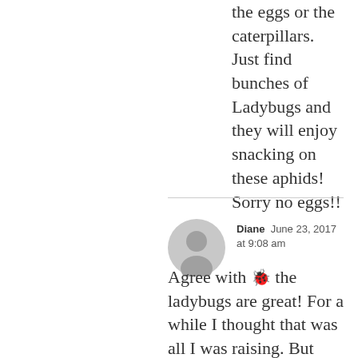the eggs or the caterpillars. Just find bunches of Ladybugs and they will enjoy snacking on these aphids! Sorry no eggs!!
Diane  June 23, 2017 at 9:08 am
[Figure (illustration): Gray circular user avatar icon]
Agree with 🐞 the ladybugs are great! For a while I thought that was all I was raising. But now I have hungry caterpillars and eaten